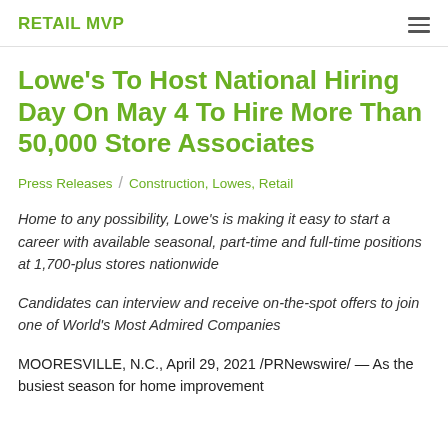RETAIL MVP
Lowe's To Host National Hiring Day On May 4 To Hire More Than 50,000 Store Associates
Press Releases / Construction, Lowes, Retail
Home to any possibility, Lowe's is making it easy to start a career with available seasonal, part-time and full-time positions at 1,700-plus stores nationwide
Candidates can interview and receive on-the-spot offers to join one of World's Most Admired Companies
MOORESVILLE, N.C., April 29, 2021 /PRNewswire/ — As the busiest season for home improvement